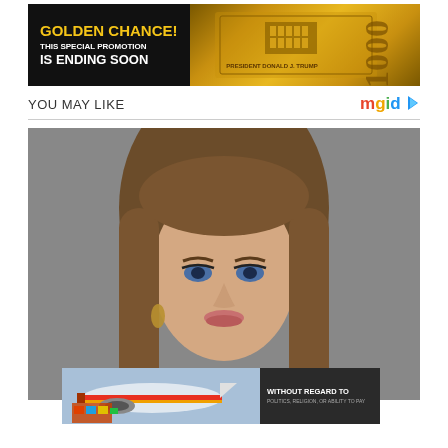[Figure (photo): Advertisement banner with black background showing 'GOLDEN CHANCE! THIS SPECIAL PROMOTION IS ENDING SOON' text in yellow/white, and a gold $1000 bill featuring President Donald J. Trump]
YOU MAY LIKE
[Figure (logo): mgid logo with colorful letters and play button triangle]
[Figure (photo): Portrait photo of a young woman with long brown hair and blue eyes against a gray background]
[Figure (photo): Advertisement showing an airplane being loaded with cargo and text 'WITHOUT REGARD TO POLITICS, RELIGION, OR ABILITY TO PAY']